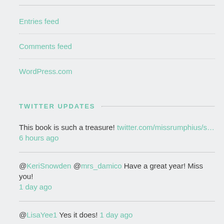Entries feed
Comments feed
WordPress.com
TWITTER UPDATES
This book is such a treasure! twitter.com/missrumphius/s… 6 hours ago
@KeriSnowden @mrs_damico Have a great year! Miss you! 1 day ago
@LisaYee1 Yes it does! 1 day ago
@LisaYee1 Yes. Someone gave me the plastic ones, but I don't think they worked as well and I like the fact that wee